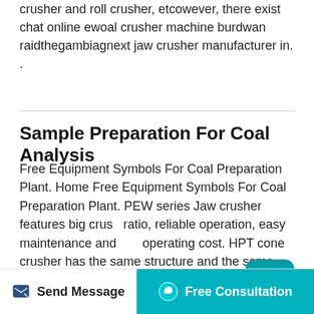crusher and roll crusher, etcowever, there exist chat online ewoal crusher machine burdwan raidthegambiagnext jaw crusher manufacturer in. .
Sample Preparation For Coal Analysis
Free Equipment Symbols For Coal Preparation Plant. Home Free Equipment Symbols For Coal Preparation Plant. PEW series Jaw crusher features big crush ratio, reliable operation, easy maintenance and low operating cost. HPT cone crusher has the same structure and the same crushing theory as traditional HPC cone crusher. But HPT cone crusher.Coal Preparation Crushers. Coal mining Coal preparation In addition during the process of mining a portion of the roof and floor material may
Send Message
Free Consultation